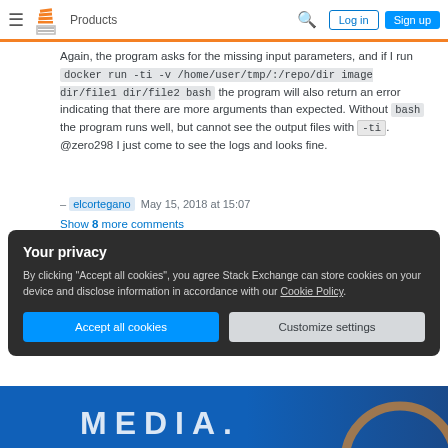≡  [Stack Overflow logo]  Products  🔍  Log in  Sign up
Again, the program asks for the missing input parameters, and if I run docker run -ti -v /home/user/tmp/:/repo/dir image dir/file1 dir/file2 bash the program will also return an error indicating that there are more arguments than expected. Without bash the program runs well, but cannot see the output files with -ti. @zero298 I just come to see the logs and looks fine.
– elcortegano  May 15, 2018 at 15:07
Show 8 more comments
[Figure (screenshot): Partial Stack Overflow advertisement banner showing blue background with orange play button and diagonal orange stripe]
Your privacy
By clicking "Accept all cookies", you agree Stack Exchange can store cookies on your device and disclose information in accordance with our Cookie Policy.
Accept all cookies
Customize settings
[Figure (screenshot): Bottom blue banner with large white text (partially visible) and orange arc decoration]